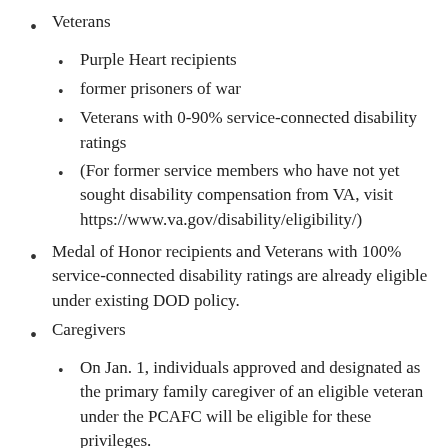Veterans
Purple Heart recipients
former prisoners of war
Veterans with 0-90% service-connected disability ratings
(For former service members who have not yet sought disability compensation from VA, visit https://www.va.gov/disability/eligibility/)
Medal of Honor recipients and Veterans with 100% service-connected disability ratings are already eligible under existing DOD policy.
Caregivers
On Jan. 1, individuals approved and designated as the primary family caregiver of an eligible veteran under the PCAFC will be eligible for these privileges.